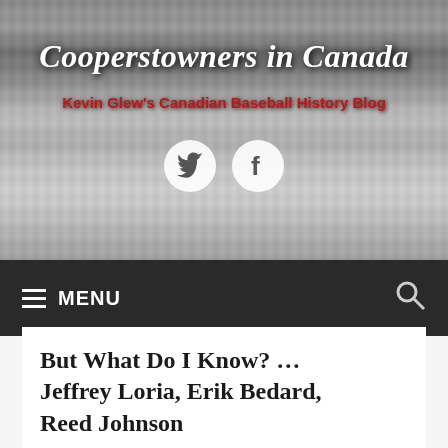[Figure (photo): Black and white team photo of the Montreal Royals baseball team, multiple rows of players in Royals uniforms, with social media icons (Twitter bird and Facebook 'f') overlaid on the image]
Cooperstowners in Canada
Kevin Glew's Canadian Baseball History Blog
≡ MENU
But What Do I Know? … Jeffrey Loria, Erik Bedard, Reed Johnson